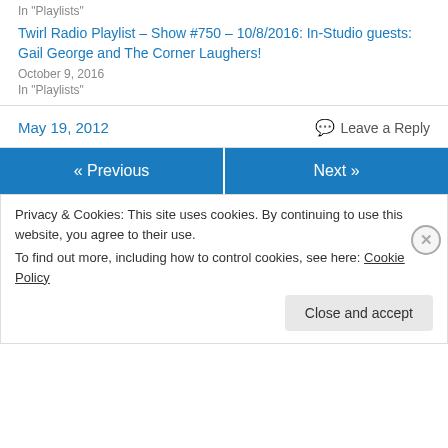In "Playlists"
Twirl Radio Playlist – Show #750 – 10/8/2016: In-Studio guests: Gail George and The Corner Laughers!
October 9, 2016
In "Playlists"
May 19, 2012
Leave a Reply
« Previous
Next »
Privacy & Cookies: This site uses cookies. By continuing to use this website, you agree to their use.
To find out more, including how to control cookies, see here: Cookie Policy
Close and accept